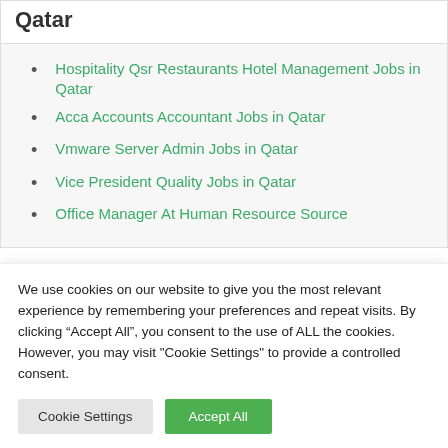Qatar
Hospitality Qsr Restaurants Hotel Management Jobs in Qatar
Acca Accounts Accountant Jobs in Qatar
Vmware Server Admin Jobs in Qatar
Vice President Quality Jobs in Qatar
Office Manager At Human Resource Source
We use cookies on our website to give you the most relevant experience by remembering your preferences and repeat visits. By clicking “Accept All”, you consent to the use of ALL the cookies. However, you may visit "Cookie Settings" to provide a controlled consent.